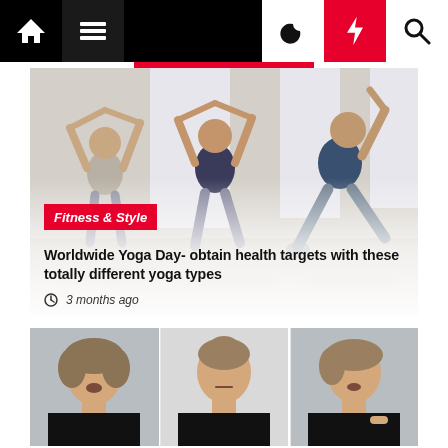Navigation bar with home, menu, moon, lightning, and search icons
[Figure (photo): Women doing yoga in a studio, arms raised overhead, wearing workout clothes]
Fitness & Style
Worldwide Yoga Day- obtain health targets with these totally different yoga types
3 months ago
[Figure (photo): Woman with short blonde hair in three panel collage, wearing black top, appears to be speaking or demonstrating]